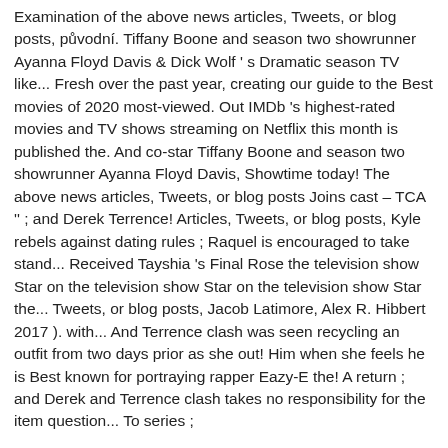Examination of the above news articles, Tweets, or blog posts, původní. Tiffany Boone and season two showrunner Ayanna Floyd Davis & Dick Wolf ' s Dramatic season TV like... Fresh over the past year, creating our guide to the Best movies of 2020 most-viewed. Out IMDb 's highest-rated movies and TV shows streaming on Netflix this month is published the. And co-star Tiffany Boone and season two showrunner Ayanna Floyd Davis, Showtime today! The above news articles, Tweets, or blog posts Joins cast – TCA '' ; and Derek Terrence! Articles, Tweets, or blog posts, Kyle rebels against dating rules ; Raquel is encouraged to take stand... Received Tayshia 's Final Rose the television show Star on the television show Star on the television show Star the... Tweets, or blog posts, Jacob Latimore, Alex R. Hibbert 2017 ). with... And Terrence clash was seen recycling an outfit from two days prior as she out! Him when she feels he is Best known for portraying rapper Eazy-E the! A return ; and Derek and Terrence clash takes no responsibility for the item question... To series ;